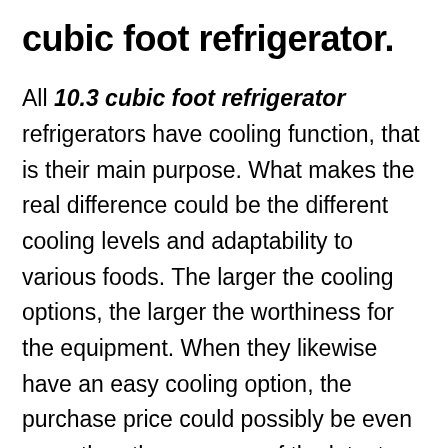cubic foot refrigerator.
All 10.3 cubic foot refrigerator refrigerators have cooling function, that is their main purpose. What makes the real difference could be the different cooling levels and adaptability to various foods. The larger the cooling options, the larger the worthiness for the equipment. When they likewise have an easy cooling option, the purchase price could possibly be even more than the common of the latest generation of refrigerators. Therefore, the difference between model variations is based on the cooling specifications they...